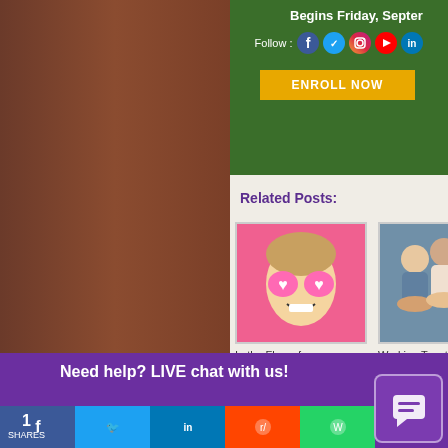Begins Friday, September
Follow :
[Figure (infographic): Social media icons: Facebook, Twitter, Instagram, YouTube, LinkedIn]
[Figure (infographic): ENROLL NOW button in gold/orange color]
Related Posts:
[Figure (photo): Woman with heart-shaped sunglasses on pink background]
In the Flow of Prosperity
[Figure (photo): Group of people stacking hands together]
Working Together
[Figure (photo): Person with arms raised at sunset]
I let excuses in my way
Need help? LIVE chat with us!
1 SHARES